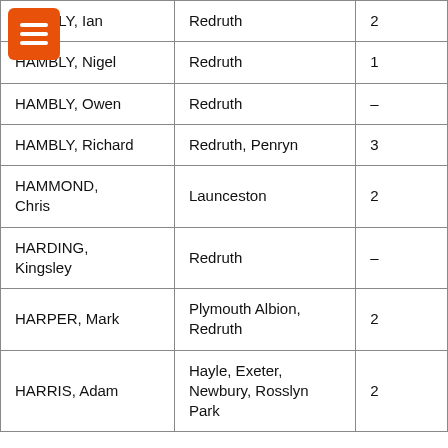| HAMBLY, Ian | Redruth | 2 |
| HAMBLY, Nigel | Redruth | 1 |
| HAMBLY, Owen | Redruth | – |
| HAMBLY, Richard | Redruth, Penryn | 3 |
| HAMMOND, Chris | Launceston | 2 |
| HARDING, Kingsley | Redruth | – |
| HARPER, Mark | Plymouth Albion, Redruth | 2 |
| HARRIS, Adam | Hayle, Exeter, Newbury, Rosslyn Park | 2 |